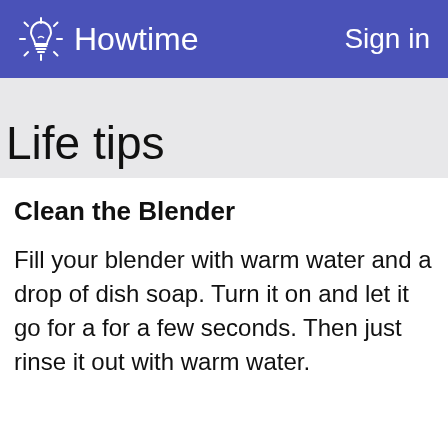Howtime   Sign in
Life tips
Clean the Blender
Fill your blender with warm water and a drop of dish soap. Turn it on and let it go for a for a few seconds. Then just rinse it out with warm water.